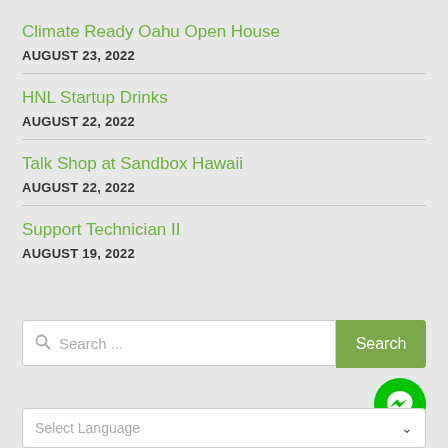Climate Ready Oahu Open House
AUGUST 23, 2022
HNL Startup Drinks
AUGUST 22, 2022
Talk Shop at Sandbox Hawaii
AUGUST 22, 2022
Support Technician II
AUGUST 19, 2022
Search ...
Search
Select Language